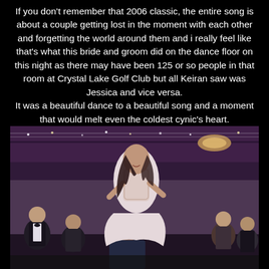If you don't remember that 2006 classic, the entire song is about a couple getting lost in the moment with each other and forgetting the world around them and i really feel like that's what this bride and groom did on the dance floor on this night as there may have been 125 or so people in that room at Crystal Lake Golf Club but all Keiran saw was Jessica and vice versa.
It was a beautiful dance to a beautiful song and a moment that would melt even the coldest cynic's heart.
[Figure (photo): A bride being lifted by the groom on a dance floor at a wedding reception. The bride is wearing a lace-embroidered wedding dress and has long dark hair. Several guests in formal attire stand watching in the background. The venue has purple/pink uplighting and string lights on the ceiling.]